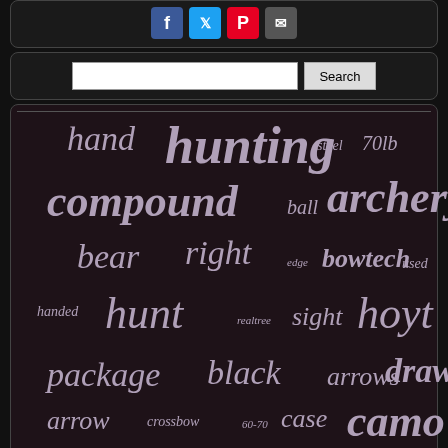[Figure (other): Social media share buttons: Facebook, Twitter, Pinterest, Email]
[Figure (other): Search input box with Search button]
[Figure (other): Tag cloud with archery/hunting related keywords of varying sizes: hand, hunting, steel, 70lb, compound, ball, archery, bear, right, edge, bowtech, used, handed, hunt, realtree, sight, hoyt, package, black, arrows, draw, arrow, crossbow, 60-70, case, camo, ready, target, adjustable, shooting, mathews, fishing, oneida, carbon, left]